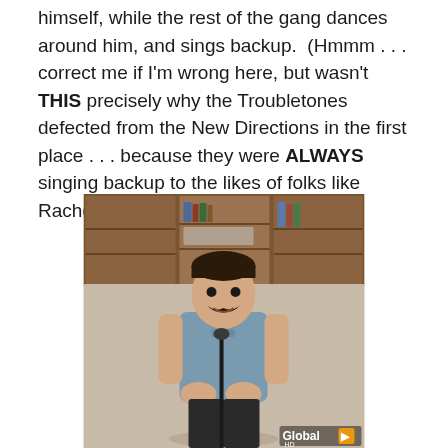himself, while the rest of the gang dances around him, and sings backup.  (Hmmm . . . correct me if I'm wrong here, but wasn't THIS precisely why the Troubletones defected from the New Directions in the first place . . . because they were ALWAYS singing backup to the likes of folks like Rachel and Blaine?)
[Figure (photo): A young man with a mustache stands at a microphone in what appears to be a classroom or choir room, wearing a blue short-sleeve button-up shirt and dark pants. Wooden cabinets and shelves are visible in the background. A 'Global HD' watermark logo appears in the bottom right corner.]